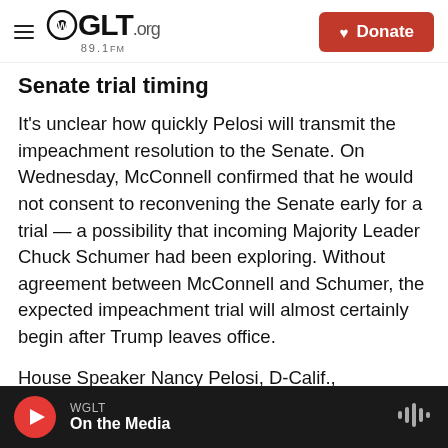WGLT.org 89.1FM — Donate
Senate trial timing
It's unclear how quickly Pelosi will transmit the impeachment resolution to the Senate. On Wednesday, McConnell confirmed that he would not consent to reconvening the Senate early for a trial — a possibility that incoming Majority Leader Chuck Schumer had been exploring. Without agreement between McConnell and Schumer, the expected impeachment trial will almost certainly begin after Trump leaves office.
House Speaker Nancy Pelosi, D-Calif., announced a group of nine Democrats who will serve as
WGLT — On the Media